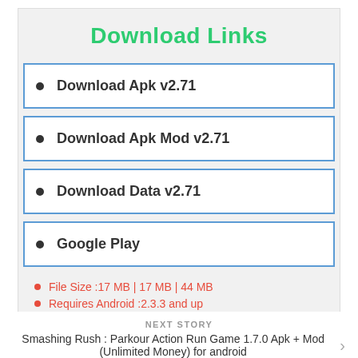Download Links
Download Apk v2.71
Download Apk Mod v2.71
Download Data v2.71
Google Play
File Size :17 MB | 17 MB | 44 MB
Requires Android :2.3.3 and up
Password: "RevAPK.com"
NEXT STORY
Smashing Rush : Parkour Action Run Game 1.7.0 Apk + Mod (Unlimited Money) for android